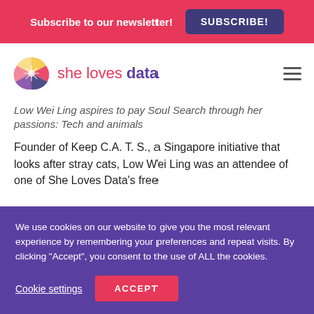Subscribe to our newsletter! SUBSCRIBE!
[Figure (logo): She Loves Data logo with colorful fan/pinwheel graphic and text 'she loves data' in pink and purple]
Low Wei Ling aspires to pay Soul Search through her passions: Tech and animals
Founder of Keep C.A. T. S., a Singapore initiative that looks after stray cats, Low Wei Ling was an attendee of one of She Loves Data's free
We use cookies on our website to give you the most relevant experience by remembering your preferences and repeat visits. By clicking "Accept", you consent to the use of ALL the cookies.
Cookie settings   ACCEPT